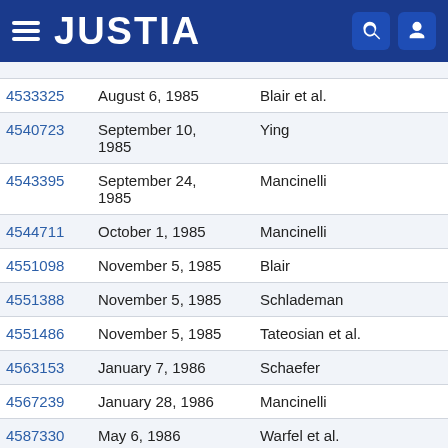JUSTIA
| Patent No. | Date | Inventor |
| --- | --- | --- |
| 4533325 | August 6, 1985 | Blair et al. |
| 4540723 | September 10, 1985 | Ying |
| 4543395 | September 24, 1985 | Mancinelli |
| 4544711 | October 1, 1985 | Mancinelli |
| 4551098 | November 5, 1985 | Blair |
| 4551388 | November 5, 1985 | Schlademan |
| 4551486 | November 5, 1985 | Tateosian et al. |
| 4563153 | January 7, 1986 | Schaefer |
| 4567239 | January 28, 1986 | Mancinelli |
| 4587330 | May 6, 1986 | Warfel et al. |